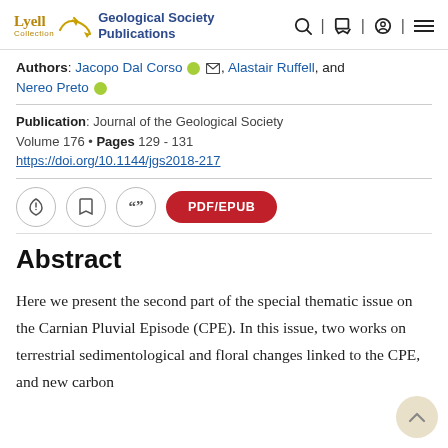Lyell Collection | Geological Society Publications
Authors: Jacopo Dal Corso, Alastair Ruffell, and Nereo Preto
Publication: Journal of the Geological Society Volume 176 • Pages 129 - 131 https://doi.org/10.1144/jgs2018-217
Abstract
Here we present the second part of the special thematic issue on the Carnian Pluvial Episode (CPE). In this issue, two works on terrestrial sedimentological and floral changes linked to the CPE, and new carbon